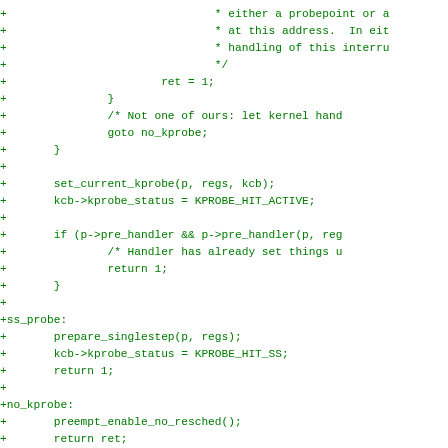[Figure (other): Diff/patch code snippet in monospace green text showing C kernel code additions with + prefix lines, including comments, control flow, and function calls related to kprobe handling]